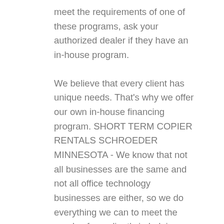meet the requirements of one of these programs, ask your authorized dealer if they have an in-house program.
We believe that every client has unique needs. That's why we offer our own in-house financing program. SHORT TERM COPIER RENTALS SCHROEDER MINNESOTA - We know that not all businesses are the same and not all office technology businesses are either, so we do everything we can to meet the needs of our client's in helping them achieve their business goals.
If you are interested in finding out more about our in-house funding program or if you just want to have a conversation concerning your company